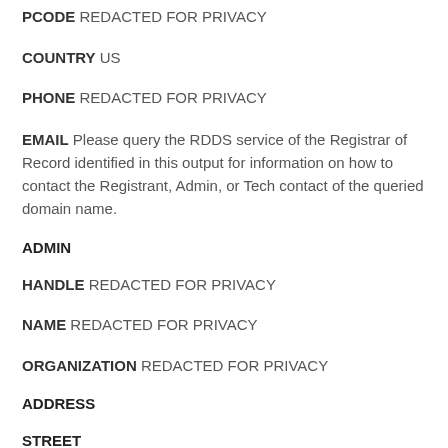PCODE REDACTED FOR PRIVACY
COUNTRY US
PHONE REDACTED FOR PRIVACY
EMAIL Please query the RDDS service of the Registrar of Record identified in this output for information on how to contact the Registrant, Admin, or Tech contact of the queried domain name.
ADMIN
HANDLE REDACTED FOR PRIVACY
NAME REDACTED FOR PRIVACY
ORGANIZATION REDACTED FOR PRIVACY
ADDRESS
STREET